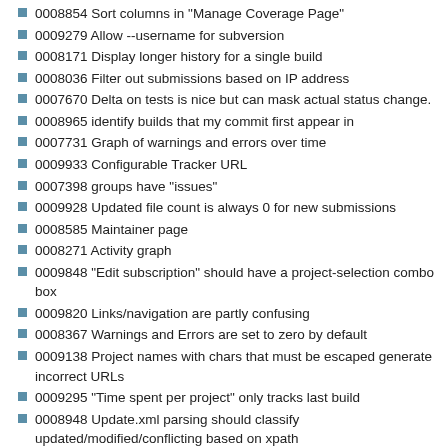0008854 Sort columns in "Manage Coverage Page"
0009279 Allow --username for subversion
0008171 Display longer history for a single build
0008036 Filter out submissions based on IP address
0007670 Delta on tests is nice but can mask actual status change.
0008965 identify builds that my commit first appear in
0007731 Graph of warnings and errors over time
0009933 Configurable Tracker URL
0007398 groups have "issues"
0009928 Updated file count is always 0 for new submissions
0008585 Maintainer page
0008271 Activity graph
0009848 "Edit subscription" should have a project-selection combo box
0009820 Links/navigation are partly confusing
0008367 Warnings and Errors are set to zero by default
0009138 Project names with chars that must be escaped generate incorrect URLs
0009295 "Time spent per project" only tracks last build
0008948 Update.xml parsing should classify updated/modified/conflicting based on xpath
0008736 better looking coverage
0009856 "Dashboard" doesn't take me to dashboard for the project